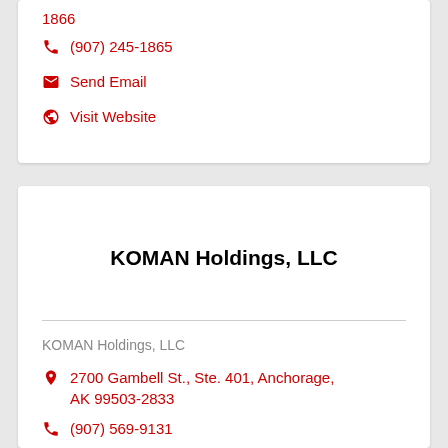1866
(907) 245-1865
Send Email
Visit Website
KOMAN Holdings, LLC
KOMAN Holdings, LLC
2700 Gambell St., Ste. 401, Anchorage, AK 99503-2833
(907) 569-9131